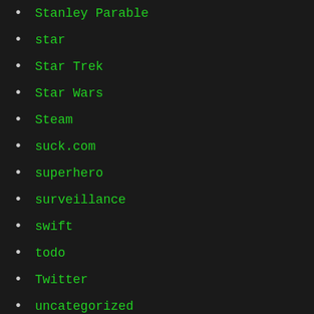Stanley Parable
star
Star Trek
Star Wars
Steam
suck.com
superhero
surveillance
swift
todo
Twitter
uncategorized
Unix
videogames
vr
vrmicro
walkingsimulator